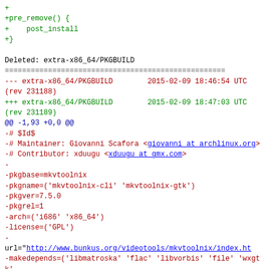+
+pre_remove() {
+    post_install
+}

Deleted: extra-x86_64/PKGBUILD
===================================================
--- extra-x86_64/PKGBUILD    2015-02-09 18:46:54 UTC
(rev 231188)
+++ extra-x86_64/PKGBUILD    2015-02-09 18:47:03 UTC
(rev 231189)
@@ -1,93 +0,0 @@
-# $Id$
-# Maintainer: Giovanni Scafora <giovanni at archlinux.org>
-# Contributor: xduugu <xduugu at gmx.com>
-
-pkgbase=mkvtoolnix
-pkgname=('mkvtoolnix-cli' 'mkvtoolnix-gtk')
-pkgver=7.5.0
-pkgrel=1
-arch=('i686' 'x86_64')
-license=('GPL')
-
url="http://www.bunkus.org/videotools/mkvtoolnix/index.ht
-makedepends=('libmatroska' 'flac' 'libvorbis' 'file' 'wxgtk'
-              'boost-libs' 'lzo' 'xdg-utils' 'boost' 'ruby')
-source=